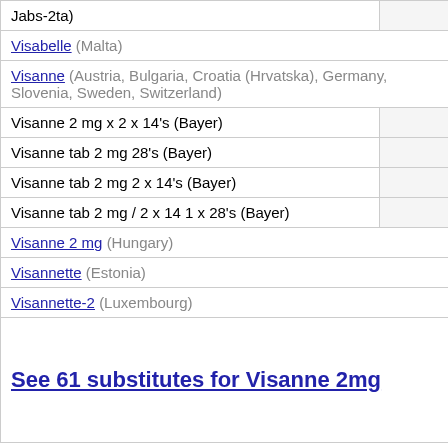| Jabs-2ta) |  |
| Visabelle (Malta) |  |
| Visanne (Austria, Bulgaria, Croatia (Hrvatska), Germany, Slovenia, Sweden, Switzerland) |  |
| Visanne 2 mg x 2 x 14's (Bayer) |  |
| Visanne tab 2 mg 28's (Bayer) |  |
| Visanne tab 2 mg 2 x 14's (Bayer) |  |
| Visanne tab 2 mg / 2 x 14 1 x 28's (Bayer) |  |
| Visanne 2 mg (Hungary) |  |
| Visannette (Estonia) |  |
| Visannette-2 (Luxembourg) |  |
| See 61 substitutes for Visanne 2mg |  |